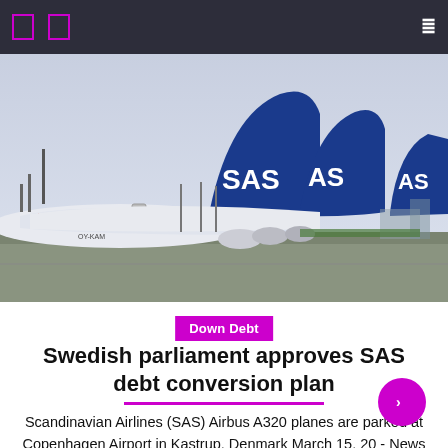Navigation bar with menu icons and search
[Figure (photo): Scandinavian Airlines (SAS) Airbus A320 planes parked at Copenhagen Airport in Kastrup, Denmark. Three aircraft tails showing SAS logo in blue and white are visible. One plane registration OY-KAM is visible on the fuselage.]
Down Debt
Swedish parliament approves SAS debt conversion plan
Scandinavian Airlines (SAS) Airbus A320 planes are parked at Copenhagen Airport in Kastrup, Denmark March 15, 20 - News Agency/Johan Nilsson via REUTERS Join now for FREE